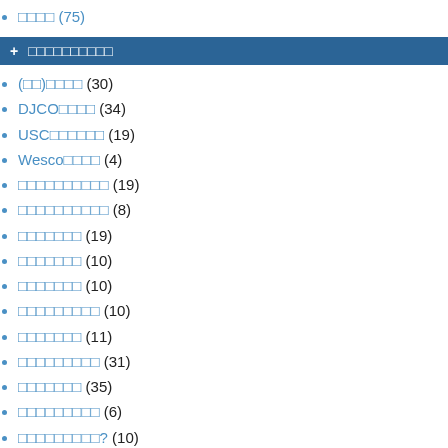□□□□ (75)
+ □□□□□□□□□□
(□□)□□□□ (30)
DJCO□□□□ (34)
USC□□□□□□ (19)
Wesco□□□□ (4)
□□□□□□□□□□ (19)
□□□□□□□□□□ (8)
□□□□□□□ (19)
□□□□□□□ (10)
□□□□□□□ (10)
□□□□□□□□□ (10)
□□□□□□□ (11)
□□□□□□□□□ (31)
□□□□□□□ (35)
□□□□□□□□□ (6)
□□□□□□□□□? (10)
□□□□ (30)